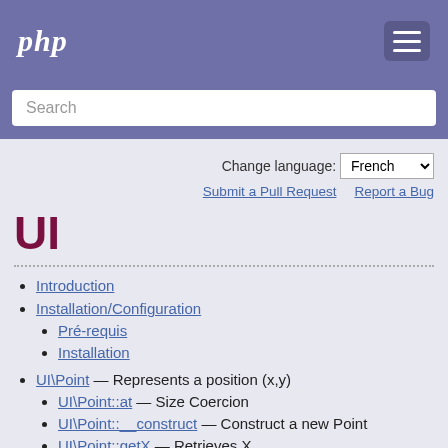php
Search
Change language: French
Submit a Pull Request   Report a Bug
UI
Introduction
Installation/Configuration
Pré-requis
Installation
UI\Point — Represents a position (x,y)
UI\Point::at — Size Coercion
UI\Point::__construct — Construct a new Point
UI\Point::getX — Retrieves X